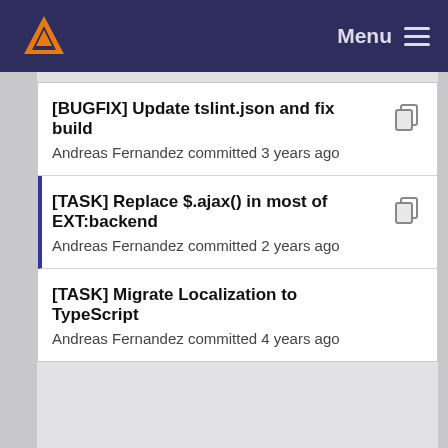Menu
[BUGFIX] Update tslint.json and fix build
Andreas Fernandez committed 3 years ago
[TASK] Replace $.ajax() in most of EXT:backend
Andreas Fernandez committed 2 years ago
[TASK] Migrate Localization to TypeScript
Andreas Fernandez committed 4 years ago